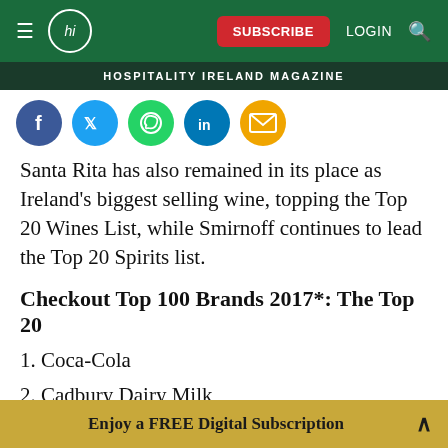hi SUBSCRIBE LOGIN 🔍
HOSPITALITY IRELAND MAGAZINE
[Figure (illustration): Row of social media share icons: Facebook (blue), Twitter (blue), WhatsApp (green), LinkedIn (blue), Email (yellow/orange)]
Santa Rita has also remained in its place as Ireland's biggest selling wine, topping the Top 20 Wines List, while Smirnoff continues to lead the Top 20 Spirits list.
Checkout Top 100 Brands 2017*: The Top 20
1. Coca-Cola
2. Cadbury Dairy Milk
Enjoy a FREE Digital Subscription